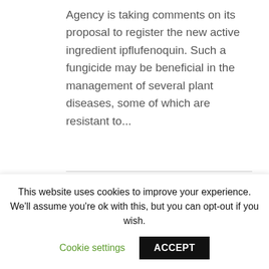Agency is taking comments on its proposal to register the new active ingredient ipflufenoquin. Such a fungicide may be beneficial in the management of several plant diseases, some of which are resistant to...
July 5, 2021
[Figure (other): Partially visible image placeholder box]
This website uses cookies to improve your experience. We'll assume you're ok with this, but you can opt-out if you wish.
Cookie settings
ACCEPT